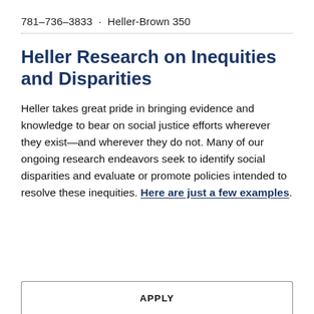781-736-3833 · Heller-Brown 350
Heller Research on Inequities and Disparities
Heller takes great pride in bringing evidence and knowledge to bear on social justice efforts wherever they exist—and wherever they do not. Many of our ongoing research endeavors seek to identify social disparities and evaluate or promote policies intended to resolve these inequities. Here are just a few examples.
APPLY